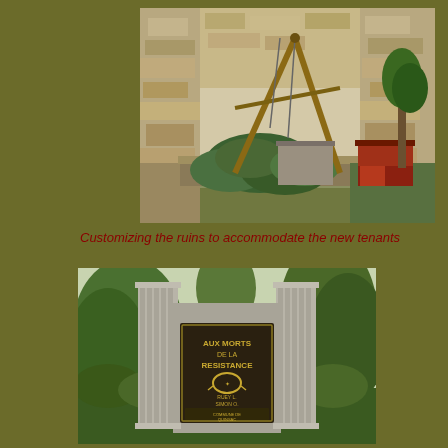[Figure (photo): A garden scene inside ancient stone ruins. A wooden A-frame structure with ropes hangs over leafy plants. A large stone block sits in the center. A red wooden hutch is on the right side. Stone walls in background.]
Customizing the ruins to accommodate the new tenants
[Figure (photo): A war memorial monument with a plaque reading 'AUX MORTS DE LA RESISTANCE' with a wreath emblem beneath, flanked by two fluted stone columns. Green shrubbery and trees surround it.]